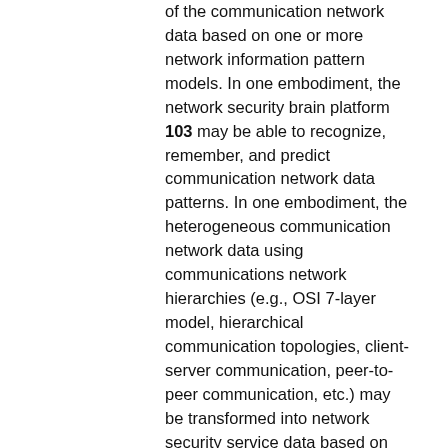of the communication network data based on one or more network information pattern models. In one embodiment, the network security brain platform 103 may be able to recognize, remember, and predict communication network data patterns. In one embodiment, the heterogeneous communication network data using communications network hierarchies (e.g., OSI 7-layer model, hierarchical communication topologies, client-server communication, peer-to-peer communication, etc.) may be transformed into network security service data based on the HHMM to determine network security patterns. The communication network patterns may include beaconing (e.g., communication between an infected host and a command and control server), prodding or probing communications network elements looking for potential infection opportunities, anomalies in client application headers, observed communication with known “bad” IP addresses, communications network security patterns (e.g., signatures) developed by third-party security vendors, knowledge of which